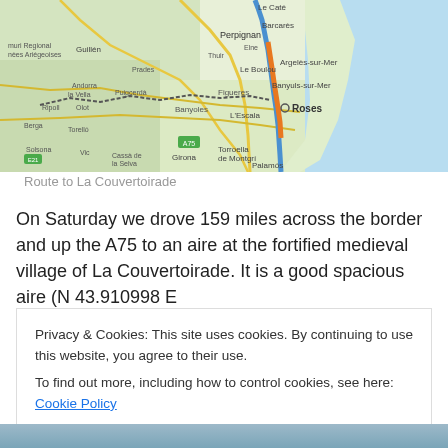[Figure (map): Map showing route through southern France and northern Spain, with Roses marked on the Mediterranean coast. Route shown in blue/orange line along the coast near Perpignan, Argeles-sur-Mer, and down to Roses, Spain.]
Route to La Couvertoirade
On Saturday we drove 159 miles across the border and up the A75 to an aire at the fortified medieval village of La Couvertoirade. It is a good spacious aire (N 43.910998 E
Privacy & Cookies: This site uses cookies. By continuing to use this website, you agree to their use.
To find out more, including how to control cookies, see here: Cookie Policy
Close and accept